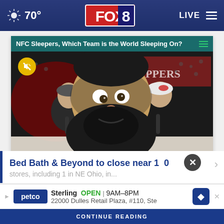FOX 8 — 70° — LIVE
NFC Sleepers, Which Team is the World Sleeping On?
[Figure (photo): Video thumbnail showing two men at a desk with a large cartoon-style bearded face overlay. Background shows Clippers arena crowd. There is a mute button icon in the top left of the video.]
Bed Bath & Beyond to close near 150 stores, including 1 in NE Ohio, in...
Sterling  OPEN  9AM–8PM
22000 Dulles Retail Plaza, #110, Ste
CONTINUE READING